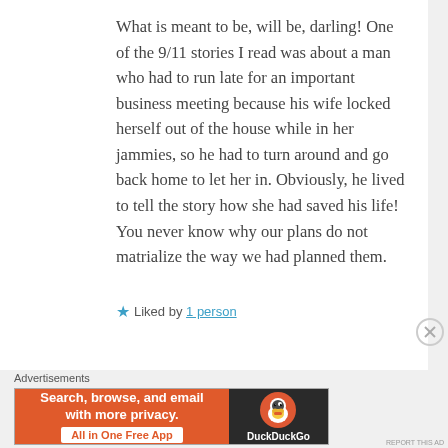What is meant to be, will be, darling! One of the 9/11 stories I read was about a man who had to run late for an important business meeting because his wife locked herself out of the house while in her jammies, so he had to turn around and go back home to let her in. Obviously, he lived to tell the story how she had saved his life! You never know why our plans do not matrialize the way we had planned them.
★ Liked by 1 person
[Figure (other): DuckDuckGo advertisement banner. Orange left section with bold white text 'Search, browse, and email with more privacy.' and white pill button 'All in One Free App'. Dark right section with DuckDuckGo duck logo and 'DuckDuckGo' label.]
Advertisements